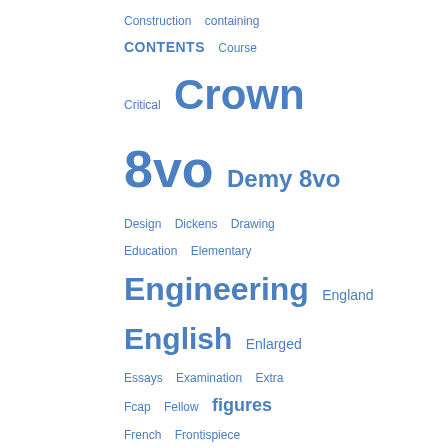[Figure (other): Word cloud / tag cloud showing alphabetically arranged index terms in varying font sizes, all in blue. Terms shown include: Construction, containing, CONTENTS, Course, Critical, Crown, 8vo, Demy 8vo, Design, Dickens, Drawing, Education, Elementary, Engineering, England, English, Enlarged, Essays, Examination, Extra, Fcap, Fellow, figures, French, Frontispiece, Garden, Geometry, GEORGE, gilt, Grammar, Greek, Henry, History, Illustrations, Index, India, Introduction, Italy, James, John, King, Large, Latin, leather]